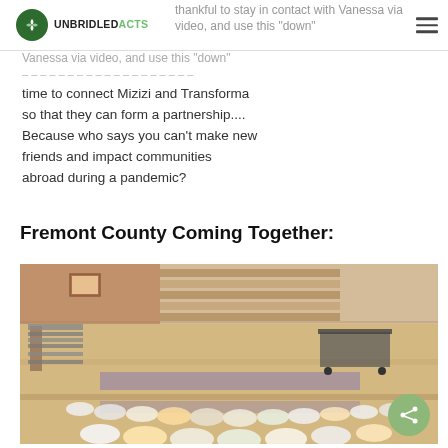UNBRIDLED ACTS
thankful to stay in contact with Vanessa via video, and use this “down” time to connect Mizizi and Transforma so that they can form a partnership.... Because who says you can’t make new friends and impact communities abroad during a pandemic?
Fremont County Coming Together:
[Figure (photo): Interior of a school gymnasium or cafeteria with folding tables pushed to the side. Multiple rows of plastic bags filled with food/supplies are laid out on the floor in lines, appearing to be a food distribution setup.]